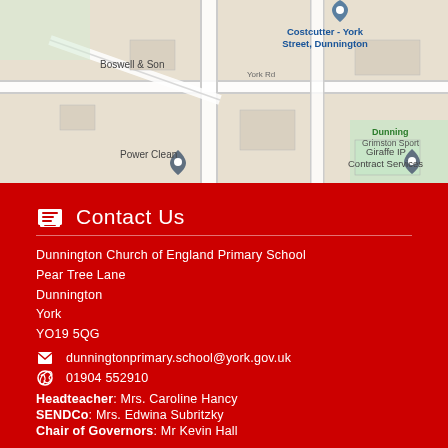[Figure (map): Google Maps screenshot showing the area around Dunnington, York, with map pins marking Costcutter York Street Dunnington, Boswell & Son, Power Clean, and Giraffe IP Contract Services locations.]
Contact Us
Dunnington Church of England Primary School
Pear Tree Lane
Dunnington
York
YO19 5QG
01904 552910
dunningtonprimary.school@york.gov.uk
Headteacher: Mrs. Caroline Hancy
SENDCo: Mrs. Edwina Subritzky
Chair of Governors: Mr Kevin Hall
The Head, SENDCo and CoG can be contacted via the main school address and phone number.